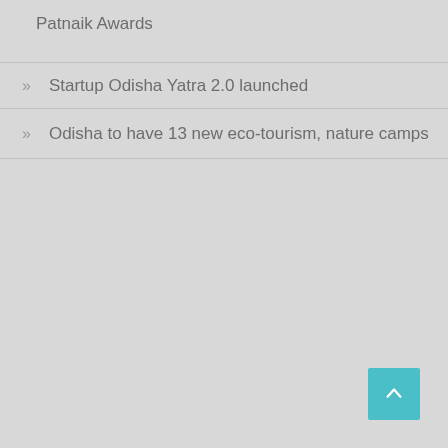Patnaik Awards
Startup Odisha Yatra 2.0 launched
Odisha to have 13 new eco-tourism, nature camps